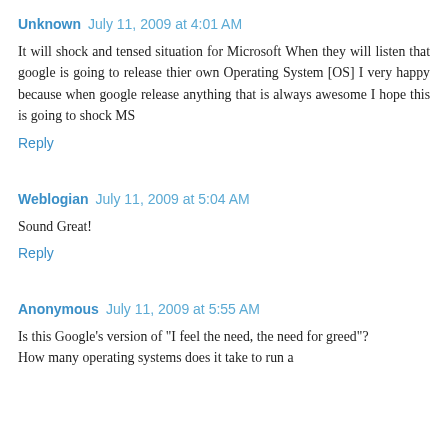Unknown  July 11, 2009 at 4:01 AM
It will shock and tensed situation for Microsoft When they will listen that google is going to release thier own Operating System [OS] I very happy because when google release anything that is always awesome I hope this is going to shock MS
Reply
Weblogian  July 11, 2009 at 5:04 AM
Sound Great!
Reply
Anonymous  July 11, 2009 at 5:55 AM
Is this Google's version of "I feel the need, the need for greed"?
How many operating systems does it take to run a